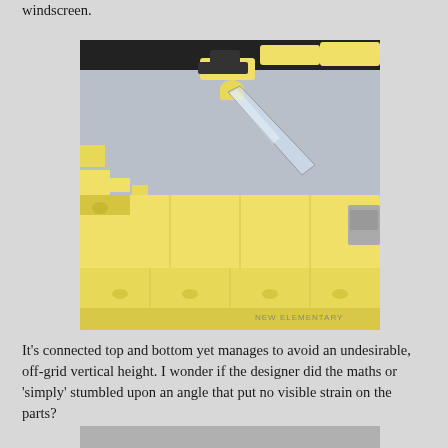windscreen.
[Figure (photo): Close-up photo of a yellow LEGO model showing a transparent windscreen piece connected at an angled position between yellow LEGO bricks. The image is watermarked 'NEW ELEMENTARY' in the bottom right corner. Background is light gray/blue.]
It's connected top and bottom yet manages to avoid an undesirable, off-grid vertical height. I wonder if the designer did the maths or 'simply' stumbled upon an angle that put no visible strain on the parts?